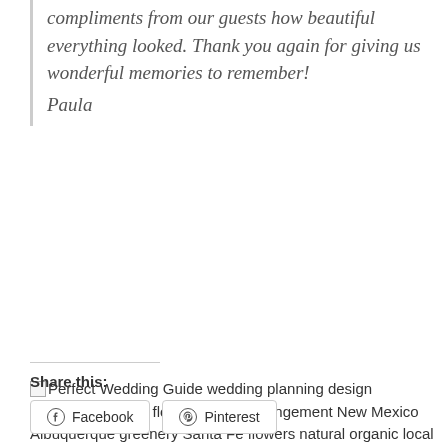compliments from our guests how beautiful everything looked. Thank you again for giving us wonderful memories to remember!
Paula
[Figure (photo): Broken image with alt text: Perfect Wedding Guide wedding planning design inspiration budget floral bouquet arrangement New Mexico Albuquerque greenery Santa Fe flowers natural organic local]
Share this:
Facebook
Pinterest